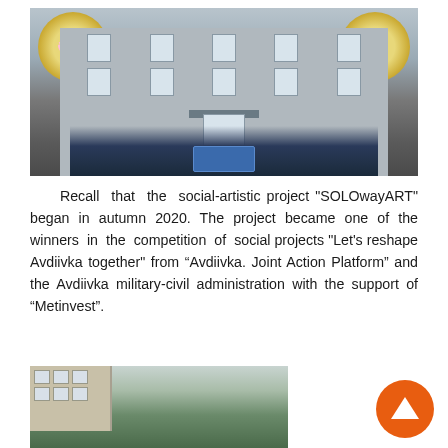[Figure (photo): Group photo of people standing in front of a building with murals (circular floral designs on left and right). The building has multiple floors with windows. The crowd holds a blue banner.]
Recall that the social-artistic project "SOLOwayART" began in autumn 2020. The project became one of the winners in the competition of social projects "Let's reshape Avdiivka together" from “Avdiivka. Joint Action Platform” and the Avdiivka military-civil administration with the support of “Metinvest”.
[Figure (photo): Partial view of a building exterior with trees and greenery visible in spring/summer.]